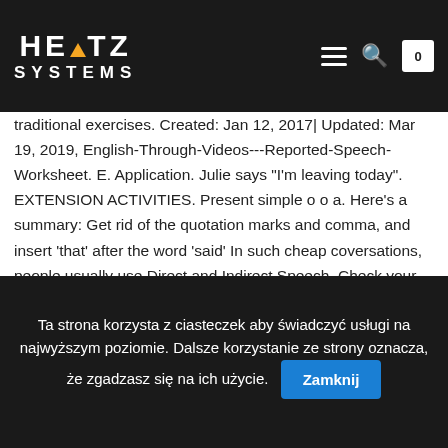HERTZ SYSTEMS
challenges that Max credited have been dealing with in my upper-intermediate / B2 certificate courses - and I have been looking for more than a case show what we had already practised using traditional exercises. Created: Jan 12, 2017| Updated: Mar 19, 2019, English-Through-Videos---Reported-Speech-Worksheet. E. Application. Julie says "I'm leaving today". EXTENSION ACTIVITIES. Present simple o o a. Here's a summary: Get rid of the quotation marks and comma, and insert 'that' after the word 'said' In such cheap coversations, people usually use Direct and Indirect Speech. Check your grammar: matching Draw a line to match the direct and indirect (reported) speech forms. Write this sentence on the whiteboard: "In a village at the base of a mountain, there is a barber who cuts the hair of everyone who does not cut their own hair. Have fun. Cut out game pieces and arrange 1. In this free direct and reported speech activity, students play a pelmanism game where they change direct speech into reported speech. Reported Speech
Ta strona korzysta z ciasteczek aby świadczyć usługi na najwyższym poziomie. Dalsze korzystanie ze strony oznacza, że zgadzasz się na ich użycie. Zamknij